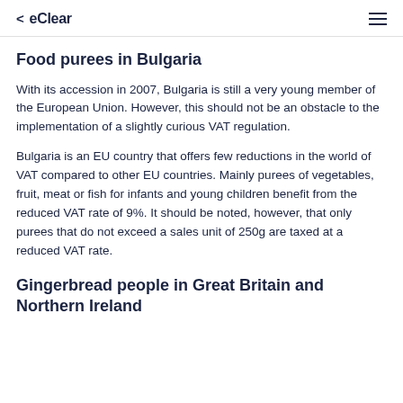< eClear
Food purees in Bulgaria
With its accession in 2007, Bulgaria is still a very young member of the European Union. However, this should not be an obstacle to the implementation of a slightly curious VAT regulation.
Bulgaria is an EU country that offers few reductions in the world of VAT compared to other EU countries. Mainly purees of vegetables, fruit, meat or fish for infants and young children benefit from the reduced VAT rate of 9%. It should be noted, however, that only purees that do not exceed a sales unit of 250g are taxed at a reduced VAT rate.
Gingerbread people in Great Britain and Northern Ireland